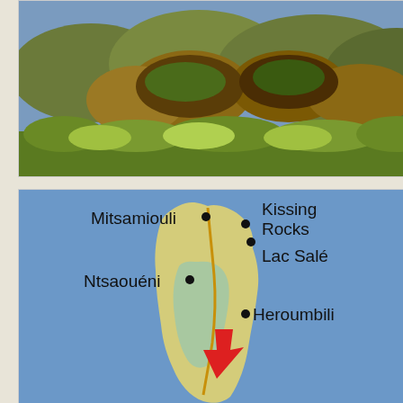[Figure (photo): Landscape photograph showing brown and green hills or mounds with vegetation in the foreground, blue sky partially visible, tropical or subtropical landscape]
[Figure (map): Map of what appears to be Comoros island with blue ocean background, showing a yellow-beige island shape with labeled locations: Kissing Rocks (top right), Mitsamiouli (top left), Lac Salé (right), Ntsaouéni (left middle), Heroumbili (right middle), with a red arrow pointing to a location on the southern part of the island. Black dots mark specific locations.]